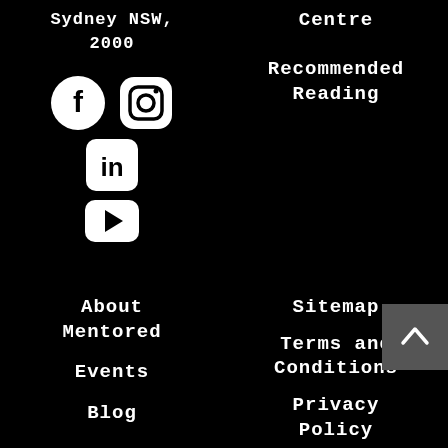Sydney NSW, 2000
[Figure (illustration): Social media icons: Facebook (circle with f), Instagram (rounded square camera icon), LinkedIn (rounded square with 'in'), YouTube (rounded rectangle with play button)]
Centre
Recommended Reading
About Mentored
Events
Blog
Sitemap
Terms and Conditions
Privacy Policy